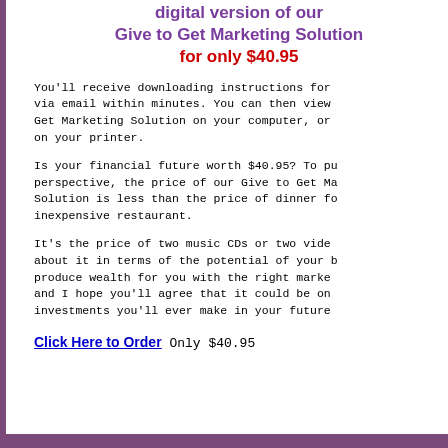digital version of our Give to Get Marketing Solution for only $40.95
You'll receive downloading instructions for via email within minutes. You can then view Get Marketing Solution on your computer, or on your printer.
Is your financial future worth $40.95? To put perspective, the price of our Give to Get Ma Solution is less than the price of dinner fo inexpensive restaurant.
It's the price of two music CDs or two video about it in terms of the potential of your b produce wealth for you with the right marke and I hope you'll agree that it could be one investments you'll ever make in your future
Click Here to Order Only $40.95